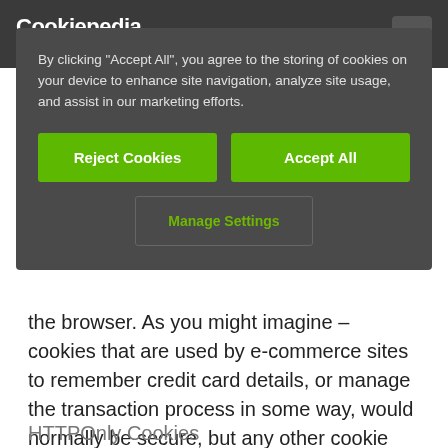Cookiepedia
By clicking "Accept All", you agree to the storing of cookies on your device to enhance site navigation, analyze site usage, and assist in our marketing efforts.
the browser. As you might imagine – cookies that are used by e-commerce sites to remember credit card details, or manage the transaction process in some way, would normally be secure, but any other cookie might also be made secure.
HTTPOnly Cookies